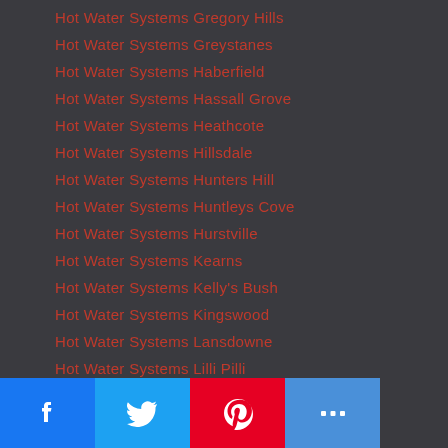Hot Water Systems Gregory Hills
Hot Water Systems Greystanes
Hot Water Systems Haberfield
Hot Water Systems Hassall Grove
Hot Water Systems Heathcote
Hot Water Systems Hillsdale
Hot Water Systems Hunters Hill
Hot Water Systems Huntleys Cove
Hot Water Systems Hurstville
Hot Water Systems Kearns
Hot Water Systems Kelly's Bush
Hot Water Systems Kingswood
Hot Water Systems Lansdowne
Hot Water Systems Lilli Pilli
Hot Water Systems Long Point
Hot Water Systems Maroubra
Hot Water Systems Marsfield
Hot Water Systems Mascot
Hot Water Systems Merrybank